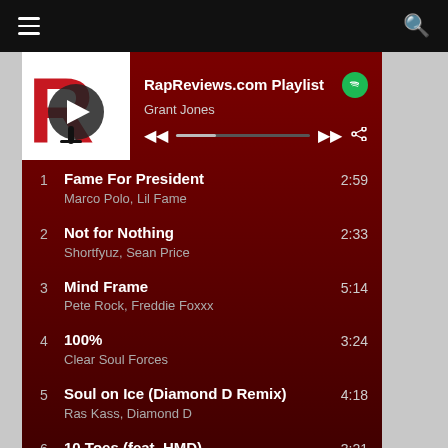[Figure (screenshot): Spotify playlist player widget showing RapReviews.com Playlist by Grant Jones with playback controls]
1  Fame For President  2:59
Marco Polo, Lil Fame
2  Not for Nothing  2:33
Shortfyuz, Sean Price
3  Mind Frame  5:14
Pete Rock, Freddie Foxxx
4  100%  3:24
Clear Soul Forces
5  Soul on Ice (Diamond D Remix)  4:18
Ras Kass, Diamond D
6  10 Toes (feat. HMD)  3:21
Children of Zeus, HMD